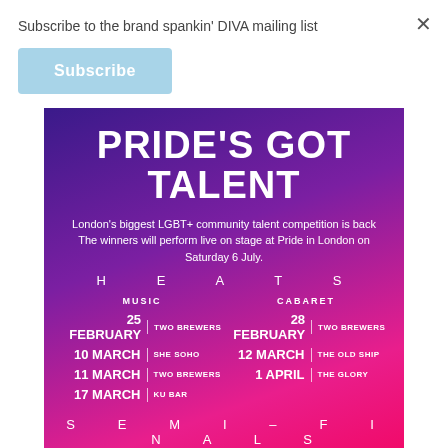Subscribe to the brand spankin' DIVA mailing list
Subscribe
PRIDE'S GOT TALENT
London's biggest LGBT+ community talent competition is back
The winners will perform live on stage at Pride in London on Saturday 6 July.
H E A T S
| MUSIC DATE | MUSIC VENUE | CABARET DATE | CABARET VENUE |
| --- | --- | --- | --- |
| 25 FEBRUARY | TWO BREWERS | 28 FEBRUARY | TWO BREWERS |
| 10 MARCH | SHE SOHO | 12 MARCH | THE OLD SHIP |
| 11 MARCH | TWO BREWERS | 1 APRIL | THE GLORY |
| 17 MARCH | KU BAR |  |  |
S E M I - F I N A L S
| MUSIC DATE | MUSIC VENUE | CABARET DATE | CABARET VENUE |
| --- | --- | --- | --- |
| 8 APRIL | PHOENIX ARTIST CLUB | 21 APRIL | PHOENIX ARTIST CLUB |